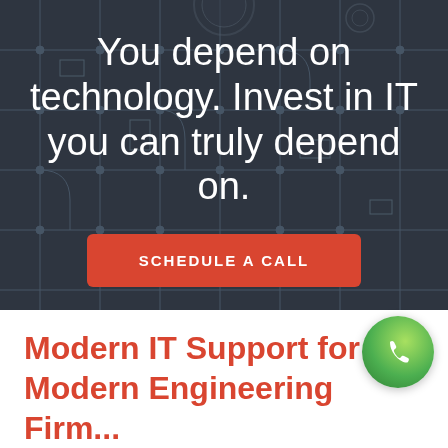[Figure (infographic): Dark overlay hero section with circuit board and instrument background. Contains large white headline text and a red CTA button.]
You depend on technology. Invest in IT you can truly depend on.
SCHEDULE A CALL
Modern IT Support for the Modern Engineering Firm...